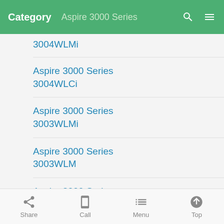Category   Aspire 3000 Series
Aspire 3000 Series 3004WLMi
Aspire 3000 Series 3004WLCi
Aspire 3000 Series 3003WLMi
Aspire 3000 Series 3003WLM
Aspire 3000 Series 3003WLCi
Aspire 3000 Series 3003NWLMi
Aspire 3000 Series
Share   Call   Menu   Top